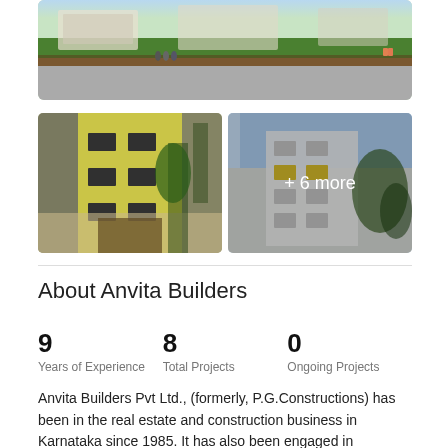[Figure (photo): Wide exterior view of a residential building complex with green lawn and people in foreground]
[Figure (photo): Modern yellow and black residential apartment building facade]
[Figure (photo): White multi-storey apartment building with trees, overlaid with '+ 6 more' text]
About Anvita Builders
9
Years of Experience
8
Total Projects
0
Ongoing Projects
Anvita Builders Pvt Ltd., (formerly, P.G.Constructions) has been in the real estate and construction business in Karnataka since 1985. It has also been engaged in infrastructure development in